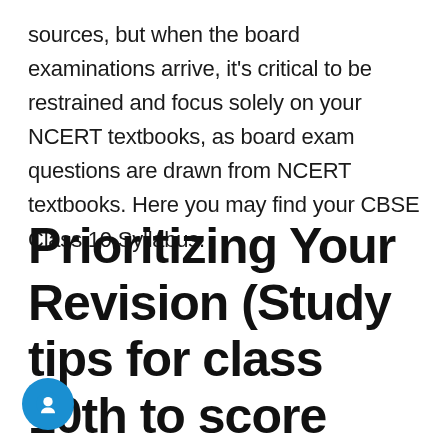sources, but when the board examinations arrive, it's critical to be restrained and focus solely on your NCERT textbooks, as board exam questions are drawn from NCERT textbooks. Here you may find your CBSE Class 10 Syllabus.
Prioritizing Your Revision (Study tips for class 10th to score good marks)
Remem...